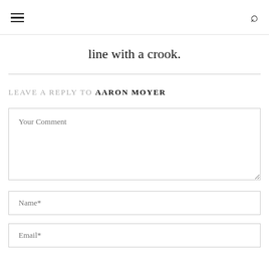☰  🔍
line with a crook.
LEAVE A REPLY TO AARON MOYER
Your Comment
Name*
Email*